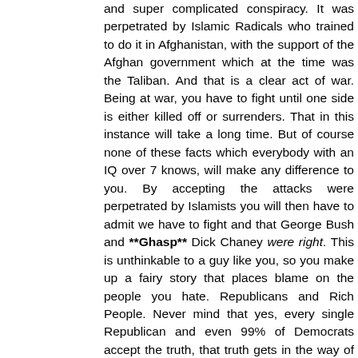and super complicated conspiracy. It was perpetrated by Islamic Radicals who trained to do it in Afghanistan, with the support of the Afghan government which at the time was the Taliban. And that is a clear act of war. Being at war, you have to fight until one side is either killed off or surrenders. That in this instance will take a long time. But of course none of these facts which everybody with an IQ over 7 knows, will make any difference to you. By accepting the attacks were perpetrated by Islamists you will then have to admit we have to fight and that George Bush and **Ghasp** Dick Chaney were right. This is unthinkable to a guy like you, so you make up a fairy story that places blame on the people you hate. Republicans and Rich People. Never mind that yes, every single Republican and even 99% of Democrats accept the truth, that truth gets in the way of your delusions. Its like showing a person the empirical evidence the Earth wasn't created in six days, faith and delusion trumps evidence. Its like showing someone Barack Obama's birth certificate, and yet the person insists Obama is a Muslim from Kenya. Sometimes you just have to accept you're talking to a crazy person. Crazy people will say crazy things.